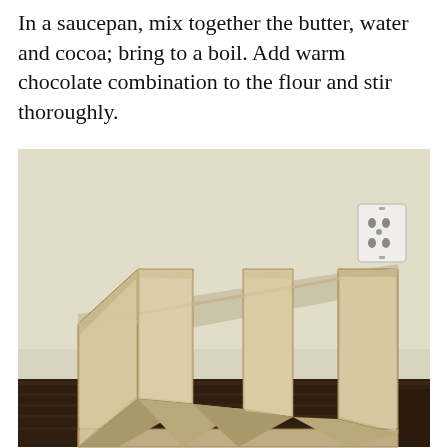In a saucepan, mix together the butter, water and cocoa; bring to a boil. Add warm chocolate combination to the flour and stir thoroughly.
[Figure (photo): A wooden MDF or plywood multi-slot organizer/rack leaning against a light beige/cream wall, placed on dark hardwood flooring. The organizer has three vertical divider slots visible. A white electrical outlet is mounted on the wall in the upper right area of the image.]